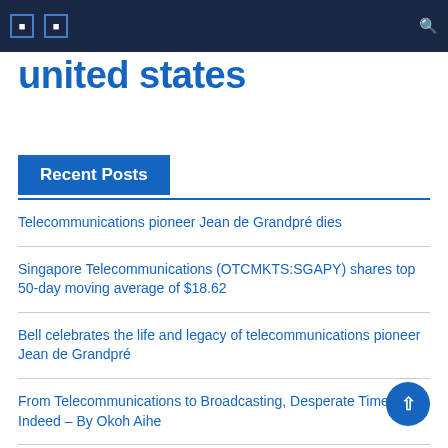[Navigation bar with icons and search]
united states
Recent Posts
Telecommunications pioneer Jean de Grandpré dies
Singapore Telecommunications (OTCMKTS:SGAPY) shares top 50-day moving average of $18.62
Bell celebrates the life and legacy of telecommunications pioneer Jean de Grandpré
From Telecommunications to Broadcasting, Desperate Times Indeed – By Okoh Aihe
Telefónica as a reference in the world of telecommunications